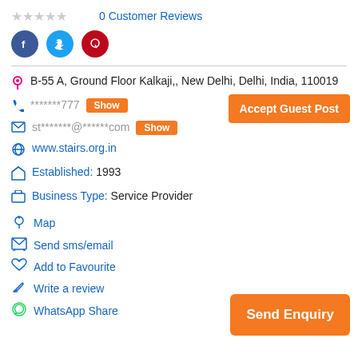0 Customer Reviews
[Figure (other): Social share icons: Facebook (blue circle), Twitter (cyan circle), Pinterest (red circle)]
B-55 A, Ground Floor Kalkaji,, New Delhi, Delhi, India, 110019
******* 777  Show
Accept Guest Post
st*******@******com  Show
www.stairs.org.in
Established: 1993
Business Type: Service Provider
Map
Send sms/email
Add to Favourite
Write a review
WhatsApp Share
Send Enquiry